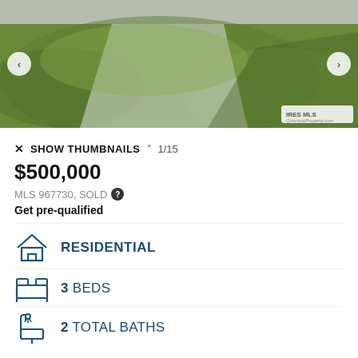[Figure (photo): Exterior lawn and driveway photo of residential property with green grass and concrete walkway. IRES MLS / ColoradoProperty.com watermark in bottom right.]
✕  SHOW THUMBNAILS ∨  1/15
$500,000
MLS 967730, SOLD ?
Get pre-qualified
RESIDENTIAL
3 BEDS
2 TOTAL BATHS